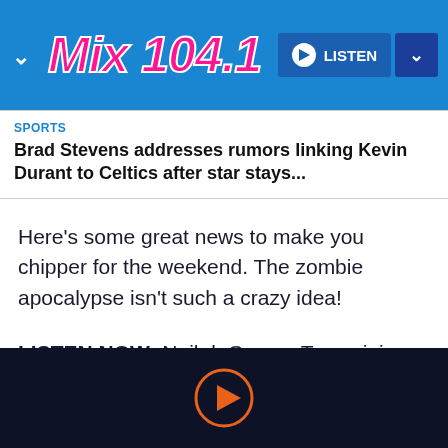Mix 104.1 — LISTEN
SPORTS
Brad Stevens addresses rumors linking Kevin Durant to Celtics after star stays...
Here's some great news to make you chipper for the weekend. The zombie apocalypse isn't such a crazy idea!
LISTEN NOW: Neil deGrasse Tyson joins Audacy's Klein & Ally
[Figure (other): Orange play button circle icon on dark navy background]